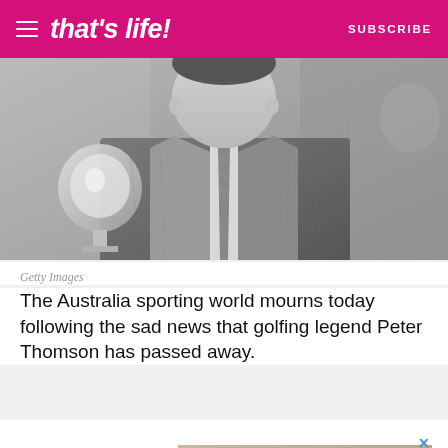that's life! | SUBSCRIBE
[Figure (photo): Black and white photo of a man in a suit holding a trophy/crystal ball]
Getty Images
The Australia sporting world mourns today following the sad news that golfing legend Peter Thomson has passed away.
[Figure (infographic): Advertisement: EASY TO INDULGE - showing a handbag and flowers on a tan/beige background]